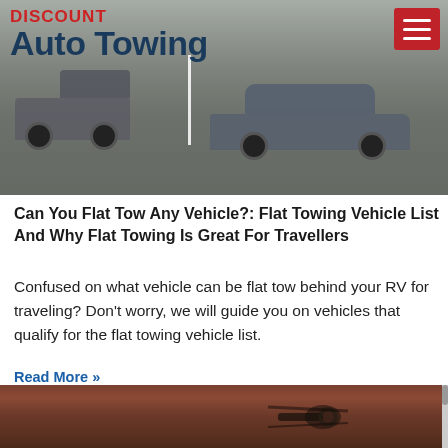[Figure (photo): Header image showing a tow truck towing a car in a parking lot, with 'DISCOUNT Auto Towing' brand overlay and a red hamburger menu button in the top right]
Can You Flat Tow Any Vehicle?: Flat Towing Vehicle List And Why Flat Towing Is Great For Travellers
Confused on what vehicle can be flat tow behind your RV for traveling? Don't worry, we will guide you on vehicles that qualify for the flat towing vehicle list.
Read More »
[Figure (photo): Close-up photo of towing equipment/hook and straps on a vehicle]